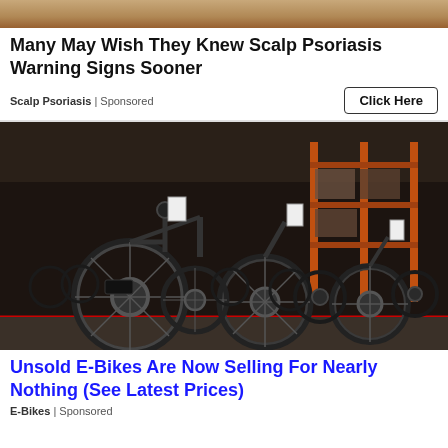[Figure (photo): Partial top banner image, tan/brown textured background]
Many May Wish They Knew Scalp Psoriasis Warning Signs Sooner
Scalp Psoriasis | Sponsored    Click Here
[Figure (photo): Warehouse full of rows of black electric bikes lined up on a red-painted floor with industrial shelving in the background]
Unsold E-Bikes Are Now Selling For Nearly Nothing (See Latest Prices)
E-Bikes | Sponsored